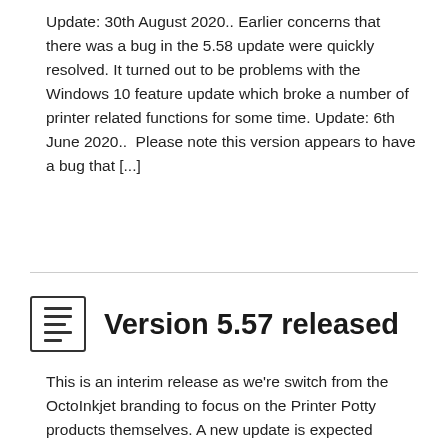Update: 30th August 2020.. Earlier concerns that there was a bug in the 5.58 update were quickly resolved. It turned out to be problems with the Windows 10 feature update which broke a number of printer related functions for some time. Update: 6th June 2020..  Please note this version appears to have a bug that [...]
Read More →
Version 5.57 released
This is an interim release as we're switch from the OctoInkjet branding to focus on the Printer Potty products themselves. A new update is expected shortly to bring us back up to parity with the WICReset main utility version which is currently on